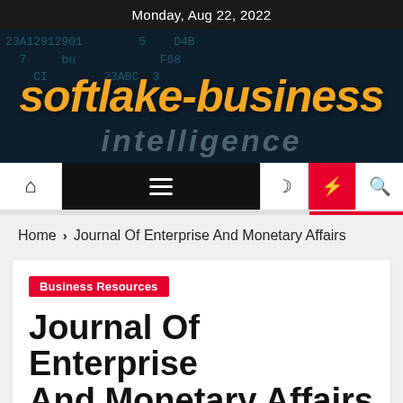Monday, Aug 22, 2022
[Figure (logo): softlake-business website logo with orange bold italic text on dark digital background with word 'intelligence' below]
[Figure (screenshot): Navigation bar with home icon, hamburger menu, moon icon, lightning bolt icon (red), and search icon]
Home > Journal Of Enterprise And Monetary Affairs
Business Resources
Journal Of Enterprise And Monetary Affairs